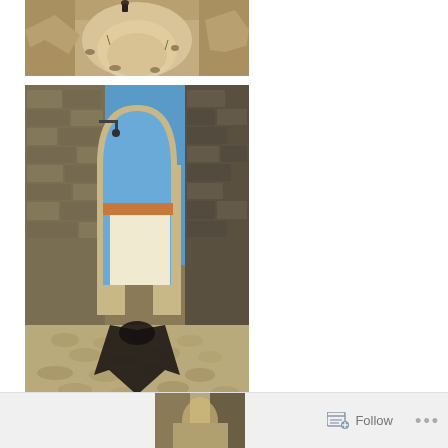[Figure (photo): Top photo showing a rocky path or dried stream bed with sandy and rocky ground, viewed looking down the path.]
[Figure (photo): Bottom photo showing a medieval stone archway/gate (Moorish arch style) flanked by stone walls, with a cobblestone path leading through it and a white building visible beyond under bright blue sky. A black shadow crosses the foreground.]
[Figure (photo): Partial footer thumbnail image of the same or similar location.]
Follow ...